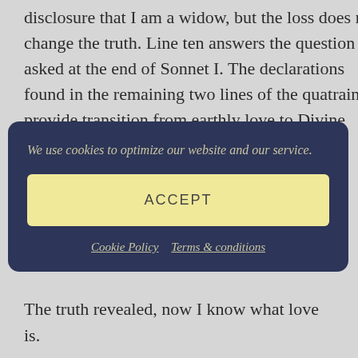disclosure that I am a widow, but the loss does not change the truth. Line ten answers the question asked at the end of Sonnet I.  The declarations found in the remaining two lines of the quatrain provide transition from earthly love to Divine Love. The final couplet confirms
We use cookies to optimize our website and our service.
ACCEPT
Cookie Policy   Terms & conditions
The truth revealed, now I know what love is.
At sixty-five, I can finally say
I know the kind of love that would divine